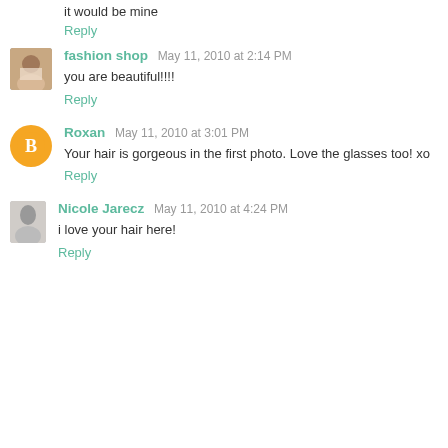it would be mine
Reply
fashion shop  May 11, 2010 at 2:14 PM
you are beautiful!!!!
Reply
Roxan  May 11, 2010 at 3:01 PM
Your hair is gorgeous in the first photo. Love the glasses too! xo
Reply
Nicole Jarecz  May 11, 2010 at 4:24 PM
i love your hair here!
Reply